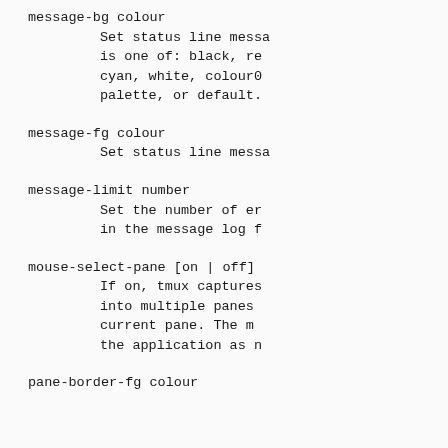message-bg colour
        Set status line messa
        is one of: black, re
        cyan, white, colour0
        palette, or default.
message-fg colour
        Set status line messa
message-limit number
        Set the number of er
        in the message log f
mouse-select-pane [on | off]
        If on, tmux captures
        into multiple panes 
        current pane.  The m
        the application as n
pane-border-fg colour